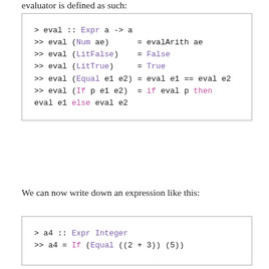evaluator is defined as such:
> eval :: Expr a -> a
> eval (Num ae)      = evalArith ae
> eval (LitFalse)    = False
> eval (LitTrue)     = True
> eval (Equal e1 e2) = eval e1 == eval e2
> eval (If p e1 e2)  = if eval p then eval e1 else eval e2
We can now write down an expression like this:
> a4 :: Expr Integer
> a4 = If (Equal ((2 + 3)) (5))